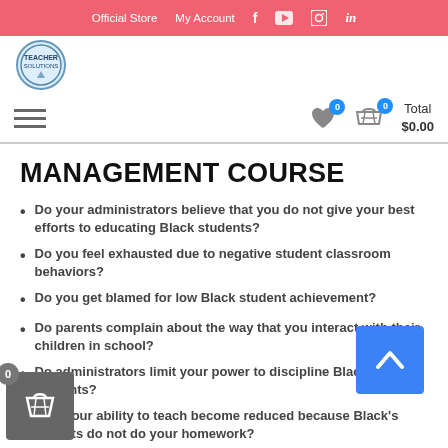Official Store   My Account   f   yt   ig   in
[Figure (logo): School/organization logo badge with emblem]
MANAGEMENT COURSE
Do your administrators believe that you do not give your best efforts to educating Black students?
Do you feel exhausted due to negative student classroom behaviors?
Do you get blamed for low Black student achievement?
Do parents complain about the way that you interact with their children in school?
Do administrators limit your power to discipline Black students?
Does your ability to teach become reduced because Black's students do not do your homework?